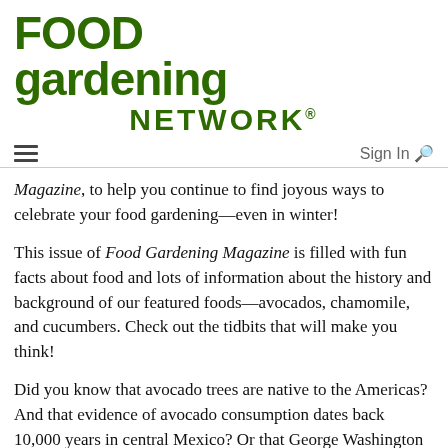[Figure (logo): Food Gardening Network logo in dark green bold serif/sans-serif font with leaf accent and registered trademark symbol]
Sign In 🔍
Magazine, to help you continue to find joyous ways to celebrate your food gardening—even in winter!
This issue of Food Gardening Magazine is filled with fun facts about food and lots of information about the history and background of our featured foods—avocados, chamomile, and cucumbers. Check out the tidbits that will make you think!
Did you know that avocado trees are native to the Americas? And that evidence of avocado consumption dates back 10,000 years in central Mexico? Or that George Washington encountered—and ate—avocados in Barbados when he visited there in 1751? Read all about it now.